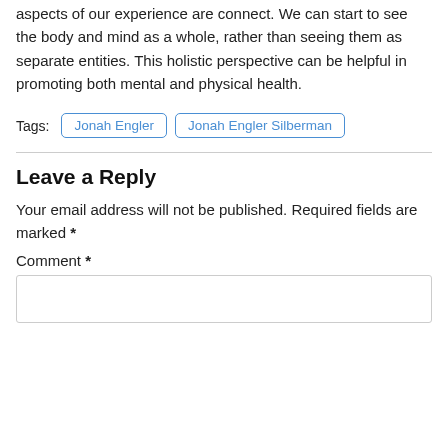aspects of our experience are connect. We can start to see the body and mind as a whole, rather than seeing them as separate entities. This holistic perspective can be helpful in promoting both mental and physical health.
Tags: Jonah Engler | Jonah Engler Silberman
Leave a Reply
Your email address will not be published. Required fields are marked *
Comment *